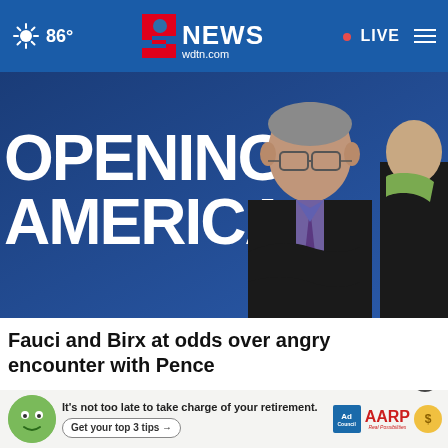86° | 2 NEWS wdtn.com | LIVE
[Figure (photo): Dr. Fauci standing in front of a blue banner reading 'OPENING AMERICA', wearing glasses and a purple tie, with a woman in a green scarf visible to his right.]
Fauci and Birx at odds over angry encounter with Pence
[Figure (photo): Partial view of a second article image showing green shapes, with an AARP advertisement overlay reading 'It's not too late to take charge of your retirement. Get your top 3 tips →' with Ad Council and AARP logos, and a close button.]